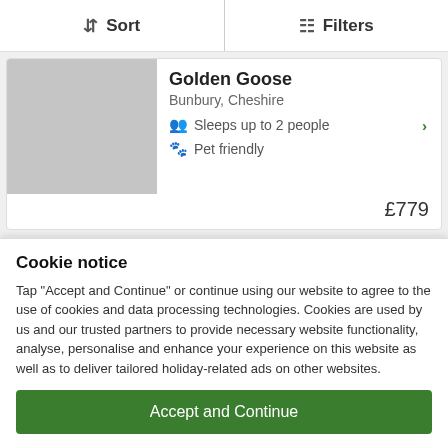Sort | Filters
Golden Goose
Bunbury, Cheshire
Sleeps up to 2 people
Pet friendly
£779
Bosley
South of Congleton, Cheshire
Sleeps up to 4 people
Pet friendly
Cookie notice
Tap "Accept and Continue" or continue using our website to agree to the use of cookies and data processing technologies. Cookies are used by us and our trusted partners to provide necessary website functionality, analyse, personalise and enhance your experience on this website as well as to deliver tailored holiday-related ads on other websites.
Accept and Continue